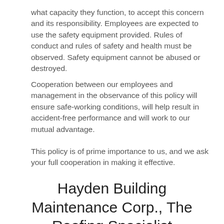what capacity they function, to accept this concern and its responsibility. Employees are expected to use the safety equipment provided. Rules of conduct and rules of safety and health must be observed. Safety equipment cannot be abused or destroyed.
Cooperation between our employees and management in the observance of this policy will ensure safe-working conditions, will help result in accident-free performance and will work to our mutual advantage.
This policy is of prime importance to us, and we ask your full cooperation in making it effective.
Hayden Building Maintenance Corp., The Roofing Specialist